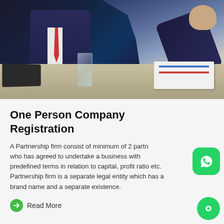[Figure (photo): Business professionals at a desk with laptop, water glass, documents, in dark suits]
One Person Company Registration
A Partnership firm consist of minimum of 2 partners who has agreed to undertake a business with predefined terms in relation to capital, profit ratio etc. Partnership firm is a separate legal entity which has a brand name and a separate existence.
Read More